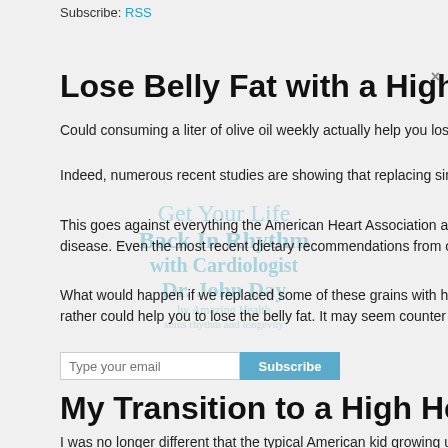Subscribe: RSS
Lose Belly Fat with a High Healthy Fat Diet
Could consuming a liter of olive oil weekly actually help you lose bell...
Indeed, numerous recent studies are showing that replacing simple c...
This goes against everything the American Heart Association and ou... disease. Even the most recent dietary recommendations from our go...
What would happen if we replaced some of these grains with healthy... rather could help you to lose the belly fat. It may seem counter intuiti...
My Transition to a High Healthy Fa...
I was no different that the typical American kid growing up in the 198... followed the dietary guidelines at that time and drank skim milk, use...
During this period of time, and into the 1990s, I was extremely active... these extreme levels of exercise I was still gaining weight on my high...